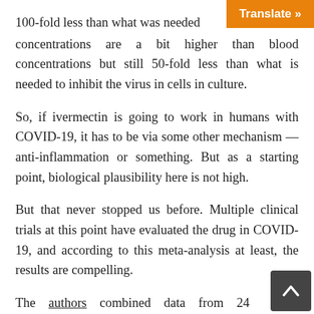100-fold less than what was needed concentrations are a bit higher than blood concentrations but still 50-fold less than what is needed to inhibit the virus in cells in culture.
So, if ivermectin is going to work in humans with COVID-19, it has to be via some other mechanism — anti-inflammation or something. But as a starting point, biological plausibility here is not high.
But that never stopped us before. Multiple clinical trials at this point have evaluated the drug in COVID-19, and according to this meta-analysis at least, the results are compelling.
The authors combined data from 24 randomized trials of ivermectin — a total of 3328 patients — to examine